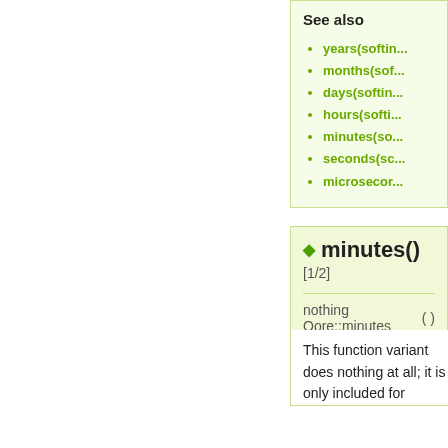See also
years(softin...
months(sof...
days(softin...
hours(softi...
minutes(so...
seconds(sc...
microsecor...
◆ minutes() [1/2]
nothing
Qore::minutes ( )
This function variant does nothing at all; it is only included for